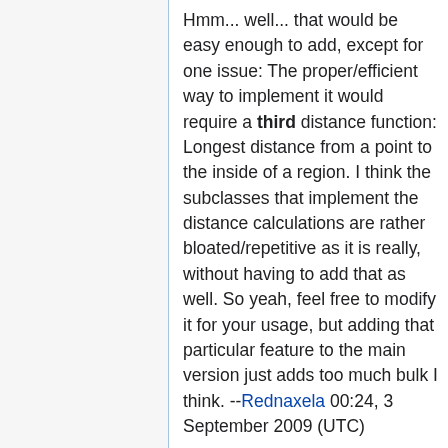Hmm... well... that would be easy enough to add, except for one issue: The proper/efficient way to implement it would require a third distance function: Longest distance from a point to the inside of a region. I think the subclasses that implement the distance calculations are rather bloated/repetitive as it is really, without having to add that as well. So yeah, feel free to modify it for your usage, but adding that particular feature to the main version just adds too much bulk I think. --Rednaxela 00:24, 3 September 2009 (UTC)
Well... I gave it a good try but couldn't work the bugs out of it, nor were perliminary performance indications looking promising. --